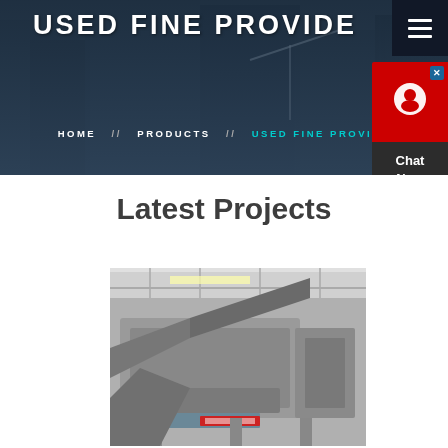USED FINE PROVIDE
HOME // PRODUCTS // USED FINE PROVIDE
[Figure (screenshot): Chat Now widget with red header and dark body in the top right corner]
Latest Projects
[Figure (photo): Industrial crushing/screening machine in a factory or plant setting, with large conveyors and machinery visible]